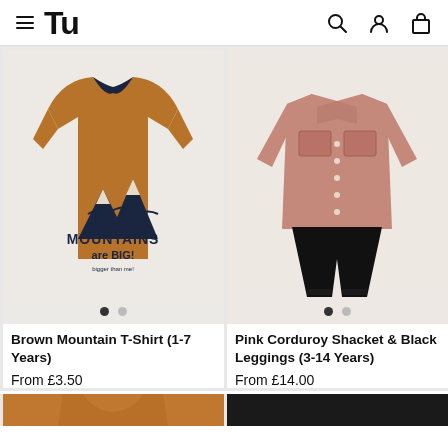Tu
[Figure (photo): Brown mountain-print long-sleeve t-shirt on a light grey background]
[Figure (photo): Pink corduroy shacket and black leggings set on a light grey background]
Brown Mountain T-Shirt (1-7 Years)
From £3.50
Pink Corduroy Shacket & Black Leggings (3-14 Years)
From £14.00
[Figure (photo): Partially visible orange/brown children's garment at bottom left]
[Figure (photo): Partially visible dark children's garment at bottom right]